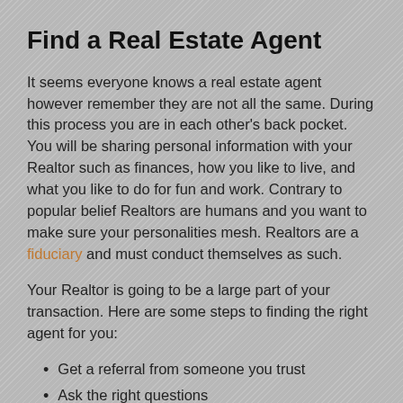Find a Real Estate Agent
It seems everyone knows a real estate agent however remember they are not all the same. During this process you are in each other’s back pocket. You will be sharing personal information with your Realtor such as finances, how you like to live, and what you like to do for fun and work. Contrary to popular belief Realtors are humans and you want to make sure your personalities mesh. Realtors are a fiduciary and must conduct themselves as such.
Your Realtor is going to be a large part of your transaction. Here are some steps to finding the right agent for you:
Get a referral from someone you trust
Ask the right questions
Clarify your motivation to purchase